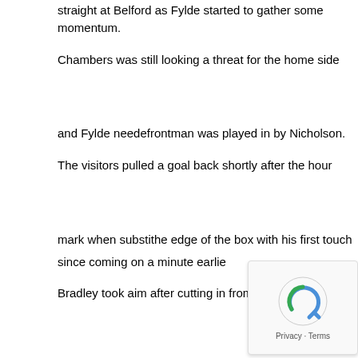straight at Belford as Fylde started to gather some momentum.
Chambers was still looking a threat for the home side and Fylde needed to respond. The frontman was played in by Nicholson.
The visitors pulled a goal back shortly after the hour mark when substitute Bradley fired into the edge of the box with his first touch since coming on a minute earlier.
Bradley took aim after cutting in from the right with 15 minutes to play and bent it past the near post. Sam Finley hit a cleanly struck first-time strike as the minutes ticked away hit the crossbar.
The match was put to bed in added time when Greg Mills' cutback was converted by the impressive Kelly-Evans.
Nuneaton Town: Belford, Gascoigne, O'Hanlon, Scott, Langmead, Geo... 90), Elliott, Chambers (Mills 90), Daniels, Nicholson.
Subs not used: Gould, Dibble.
AFC Fylde: Taylor, C. Hughes, Cowgill (Dixon 64), Bond, Kennedy, Ba... Daniels (Blinkhorn 46), Rowe.
Subs not used: Kennedy, Kay.
Att: 480